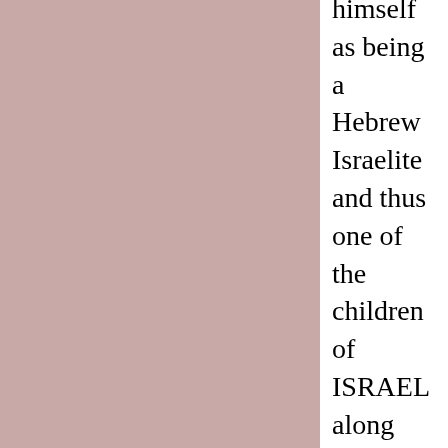himself as being a Hebrew Israelite and thus one of the children of ISRAEL along with THOSE IN the synagogue to whom he was